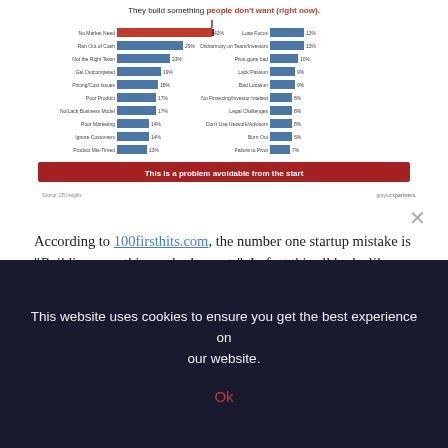[Figure (bar-chart): They build something people don't want (right now).]
According to 100firsthits.com, the number one startup mistake is "Building something nobody wants". In fact this all looks like commons sense. If there is no market need, whatever awesome
This website uses cookies to ensure you get the best experience on our website.
Ok